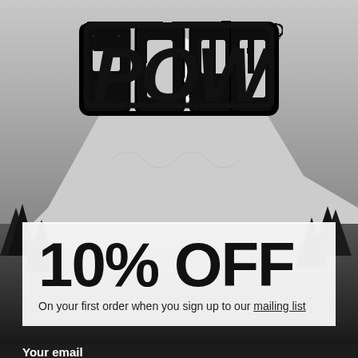[Figure (logo): POW brand logo in bold black letters on mountain background]
10% OFF
On your first order when you sign up to our mailing list
Your email
Email address
Phone Number
MM/DD